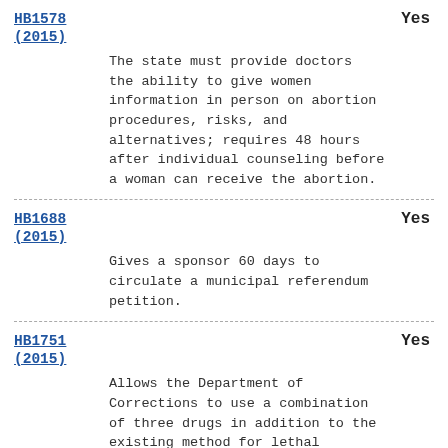HB1578 (2015) | Yes
The state must provide doctors the ability to give women information in person on abortion procedures, risks, and alternatives; requires 48 hours after individual counseling before a woman can receive the abortion.
HB1688 (2015) | Yes
Gives a sponsor 60 days to circulate a municipal referendum petition.
HB1751 (2015) | Yes
Allows the Department of Corrections to use a combination of three drugs in addition to the existing method for lethal injections.
SB1007 (2015) | Yes